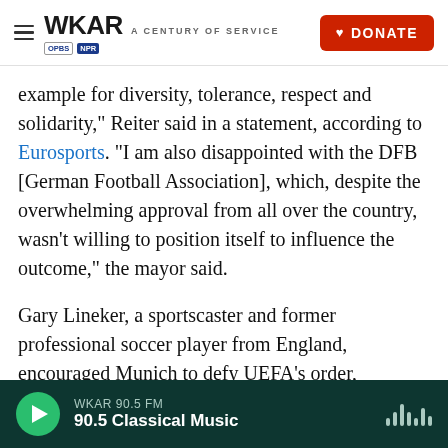WKAR A CENTURY OF SERVICE | DONATE
example for diversity, tolerance, respect and solidarity," Reiter said in a statement, according to Eurosports. "I am also disappointed with the DFB [German Football Association], which, despite the overwhelming approval from all over the country, wasn't willing to position itself to influence the outcome," the mayor said.
Gary Lineker, a sportscaster and former professional soccer player from England, encouraged Munich to defy UEFA's order, tweeting: "Do it Munich. Do it. Light it up for the world to see."
WKAR 90.5 FM | 90.5 Classical Music